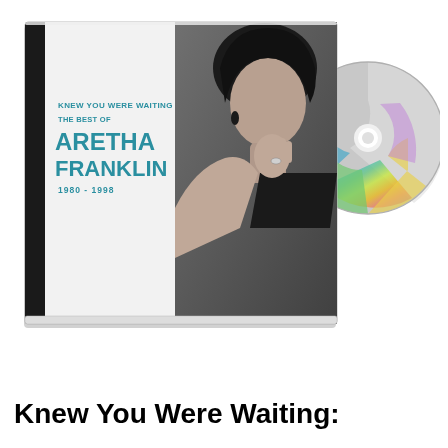[Figure (photo): CD album cover and disc for 'Knew You Were Waiting: The Best of Aretha Franklin 1980-1998'. The CD jewel case shows a black and white photo of Aretha Franklin on the right side, and teal/cyan text on the white left panel reading 'KNEW YOU WERE WAITING THE BEST OF ARETHA FRANKLIN 1980-1998'. A CD disc is visible to the upper right of the case showing rainbow iridescent colors.]
Knew You Were Waiting: